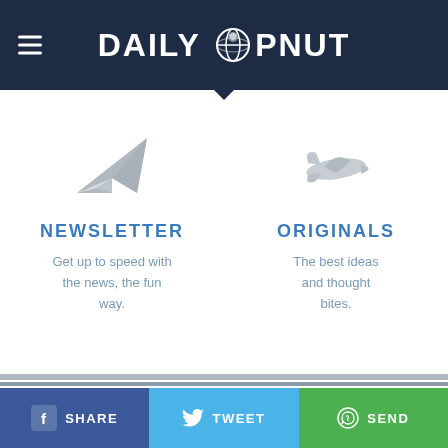DAILY PNUT
[Figure (illustration): Paper airplane icon in light gray]
NEWSLETTER
Get up to speed with the news, the fun way.
[Figure (illustration): Airplane icon in light gray]
ORIGINALS
The best ideas and thought bites.
SHARE  TWEET  SEND